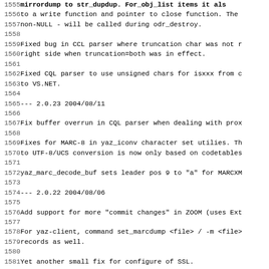1555 [bold/truncated line] to a write function and pointer to close function. The non-NULL - will be called during odr_destroy.
1559 Fixed bug in CCL parser where truncation char was not r right side when truncation=both was in effect.
1562 Fixed CQL parser to use unsigned chars for isxxx from c to VS.NET.
1565 --- 2.0.23 2004/08/11
1567 Fix buffer overrun in CQL parser when dealing with prox
1569 Fixes for MARC-8 in yaz_iconv character set utilies. Th to UTF-8/UCS conversion is now only based on codetables
1572 yaz_marc_decode_buf sets leader pos 9 to "a" for MARCXM
1574 --- 2.0.22 2004/08/06
1576 Add support for more "commit changes" in ZOOM (uses Ext
1578 For yaz-client, command set_marcdump <file> / -m <file records as well.
1581 Yet another small fix for configure of SSL.
1583 --- 2.0.21 2004/05/14
1585 Fix SSL libs for configure when --with-openssl=DIR is g
1587 --- 2.0.20 2004/05/10